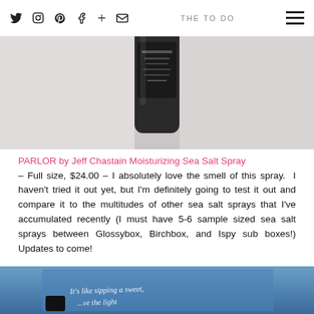Social media icons (Twitter, Instagram, Pinterest, Facebook, Google+, Email) and hamburger menu
[Figure (photo): Top portion of a dark bottle of PARLOR by Jeff Chastain Moisturizing Sea Salt Spray on a light background]
PARLOR by Jeff Chastain Moisturizing Sea Salt Spray
– Full size, $24.00 – I absolutely love the smell of this spray. I haven't tried it out yet, but I'm definitely going to test it out and compare it to the multitudes of other sea salt sprays that I've accumulated recently (I must have 5-6 sample sized sea salt sprays between Glossybox, Birchbox, and Ispy sub boxes!) Updates to come!
[Figure (photo): Bottom portion of a blue card with handwritten cursive text reading 'It's like sipping a sweet, ...save the light']